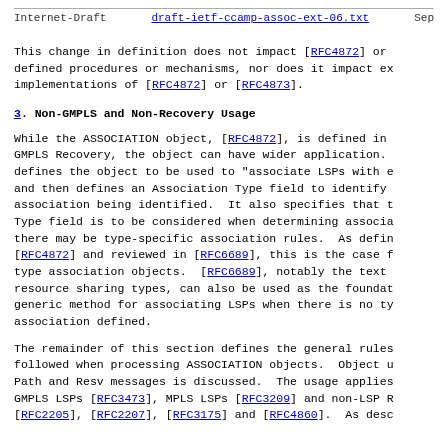Internet-Draft    draft-ietf-ccamp-assoc-ext-06.txt  Sep
This change in definition does not impact [RFC4872] or defined procedures or mechanisms, nor does it impact ex implementations of [RFC4872] or [RFC4873].
3. Non-GMPLS and Non-Recovery Usage
While the ASSOCIATION object, [RFC4872], is defined in GMPLS Recovery, the object can have wider application. defines the object to be used to "associate LSPs with e and then defines an Association Type field to identify association being identified.  It also specifies that t Type field is to be considered when determining associa there may be type-specific association rules.  As defin [RFC4872] and reviewed in [RFC6689], this is the case f type association objects.  [RFC6689], notably the text resource sharing types, can also be used as the foundat generic method for associating LSPs when there is no ty association defined.
The remainder of this section defines the general rules followed when processing ASSOCIATION objects.  Object u Path and Resv messages is discussed.  The usage applies GMPLS LSPs [RFC3473], MPLS LSPs [RFC3209] and non-LSP R [RFC2205], [RFC2207], [RFC3175] and [RFC4860].  As desc